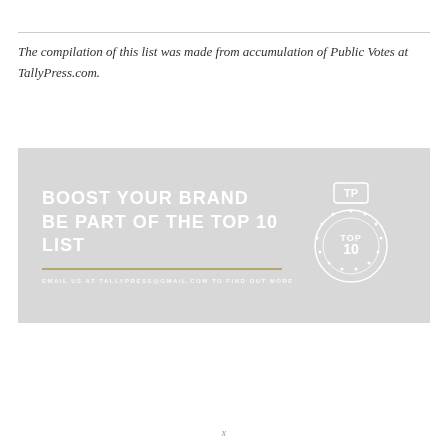The compilation of this list was made from accumulation of Public Votes at TallyPress.com.
[Figure (illustration): TallyPress promotional banner with light gray background. Left side shows bold white text 'BOOST YOUR BRAND / BE PART OF THE TOP 10 LIST' with a gold/tan horizontal rule beneath and small white text 'EMAIL US AT TALLYPRESS@GMAIL.COM TO FIND OUT MORE'. Right side shows a circular badge with 'TP' logo at top and 'TOP 10' text inside a laurel wreath circle.]
x